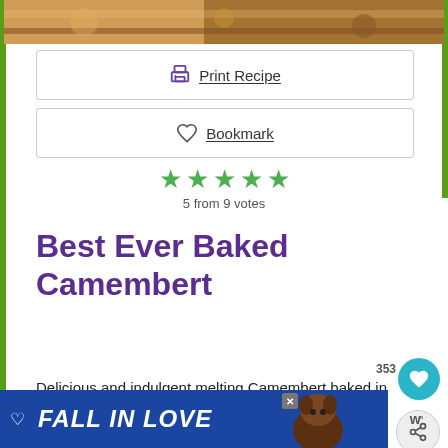[Figure (photo): Top partial image of baked camembert food item, golden-brown tones]
Print Recipe
Bookmark
[Figure (infographic): 5 green filled stars rating]
5 from 9 votes
Best Ever Baked Camembert
Delicious and indulgent melting Camembert baked in the box. Perfect for dipping, spreading and sharing.
[Figure (photo): Ad banner: FALL IN LOVE with dog image]